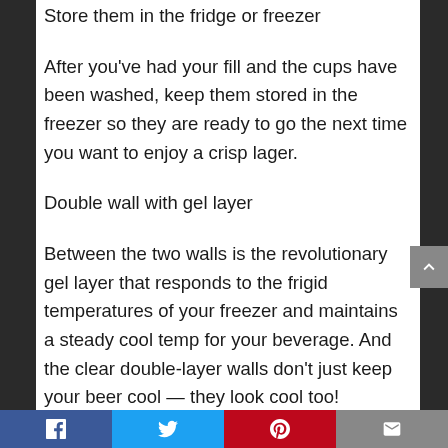Store them in the fridge or freezer
After you've had your fill and the cups have been washed, keep them stored in the freezer so they are ready to go the next time you want to enjoy a crisp lager.
Double wall with gel layer
Between the two walls is the revolutionary gel layer that responds to the frigid temperatures of your freezer and maintains a steady cool temp for your beverage. And the clear double-layer walls don't just keep your beer cool — they look cool too!
[Figure (other): Social sharing bar with Facebook, Twitter, Pinterest, and Email buttons]